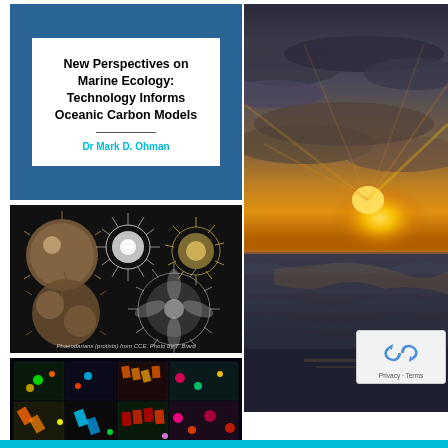[Figure (illustration): Book cover with blue background and white inner panel showing title 'New Perspectives on Marine Ecology: Technology Informs Oceanic Carbon Models' by Dr Mark D. Ohman]
[Figure (photo): Microscope photo of planktonic organisms (radiolarians/foraminifera) on black background with caption about Phaeodarians from CCE]
[Figure (photo): Fluorescence microscopy image showing colorful phytoplankton cells on dark background]
[Figure (photo): Ocean sunset photo showing dramatic rays of light breaking through clouds over choppy sea]